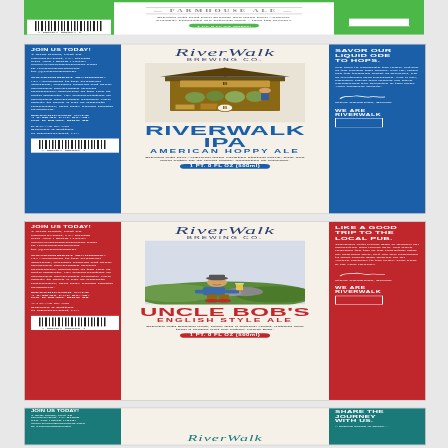[Figure (illustration): RiverWalk Brewing Co. beer label - Farmhouse Ale (green), partial view at top of page showing barcode on left panel, center text with Farmhouse Ale name and description, and WE ARE RIVERWALK on right green panel]
[Figure (illustration): RiverWalk Brewing Co. beer label - RiverWalk IPA American Hoppy Ale, blue side panels with JOIN US TODAY contact info, GOVERNMENT WARNING, and SAVOR OUR LIQUID ODE TO HOPS text; center panel with RiverWalk Brewing Co. logo, illustrated hop stand/market stall image, RIVERWALK IPA bold text, AMERICAN HOPPY ALE subtitle, description, and 1PT. 0FL OZ (500ml) volume badge]
[Figure (illustration): RiverWalk Brewing Co. beer label - Uncle Bob's English Style Ale, red side panels with JOIN US TODAY, GOVERNMENT WARNING, LIKE A GOOD TRIP TO THE LOCAL PUB text; center panel with RiverWalk Brewing Co. logo, illustrated man sitting on hillside with beer, UNCLE BOB'S bold text, ENGLISH STYLE ALE subtitle, description, and 1PT. 0FL OZ (500ml) volume badge in red]
[Figure (illustration): RiverWalk Brewing Co. beer label - partial view at bottom, teal/dark cyan side panels with JOIN US TODAY and SHARE THE JOURNEY WITH US text visible; center shows RiverWalk logo partial]